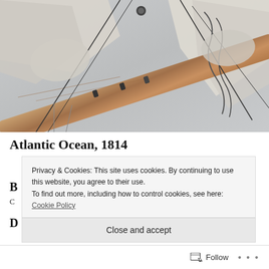[Figure (photo): Close-up photograph of a tall ship's boom/mast with furled white sails and rigging ropes against a light grey background. A wooden boom runs diagonally across the frame with metal chain rigging and bundled canvas sails.]
Atlantic Ocean, 1814
B... C... D... (partially obscured by cookie banner)
Privacy & Cookies: This site uses cookies. By continuing to use this website, you agree to their use. To find out more, including how to control cookies, see here: Cookie Policy
Close and accept
Follow